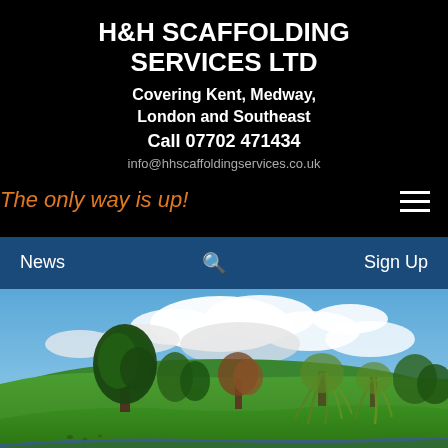H&H SCAFFOLDING SERVICES LTD
Covering Kent, Medway, London and Southeast
Call 07702 471434
info@hhscaffoldingservices.co.uk
The only way is up!
News  🔍  Sign Up
[Figure (photo): Landscape photo showing a scenic park with large trees including a cedar tree, green grass, weeping willows near a calm lake, under a partly cloudy blue sky.]